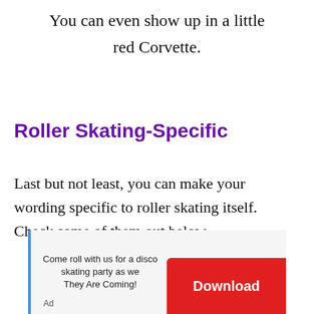You can even show up in a little red Corvette.
Roller Skating-Specific
Last but not least, you can make your wording specific to roller skating itself. Check some of them out below.
Come roll with us for a disco skating party as we
They Are Coming!
Ad